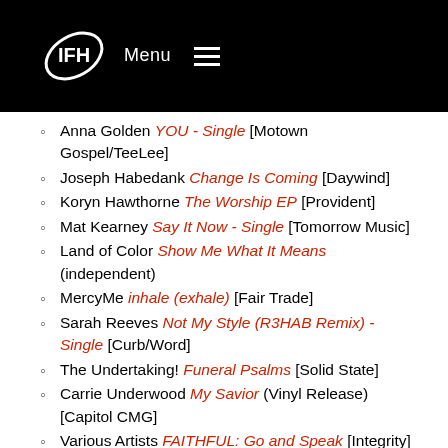Menu ☰
Anna Golden YOU - Single [Motown Gospel/TeeLee]
Joseph Habedank Change Is Coming [Daywind]
Koryn Hawthorne The Worship EP [Provident]
Mat Kearney Say It Now - Single [Tomorrow Music]
Land of Color Show Me What It Means (independent)
MercyMe inhale (exhale) [Fair Trade]
Sarah Reeves Not My Style (R3HAB Remix) - Single [Curb/Word]
The Undertaking! Funeral Psalms [Solid State]
Carrie Underwood My Savior (Vinyl Release) [Capitol CMG]
Various Artists FAITHFUL: Go and Speak [Integrity]
Vineyard Worship My Hope Has Come (Instrumental) [Integrity]
Phil Wickham & Christine D'Clario La Batalla - Single (independent)